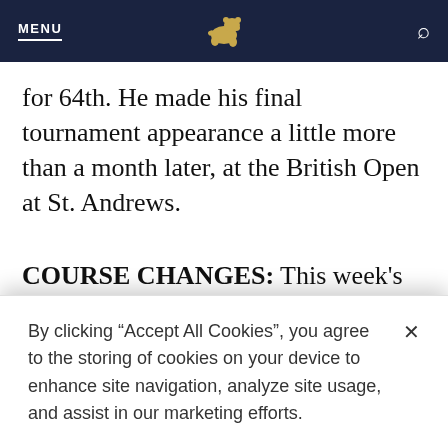MENU [bear logo] [search icon]
for 64th. He made his final tournament appearance a little more than a month later, at the British Open at St. Andrews.
COURSE CHANGES: This week's course layout measures 7,320 yards and will
By clicking “Accept All Cookies”, you agree to the storing of cookies on your device to enhance site navigation, analyze site usage, and assist in our marketing efforts.
Cookies Settings
Accept All Cookies